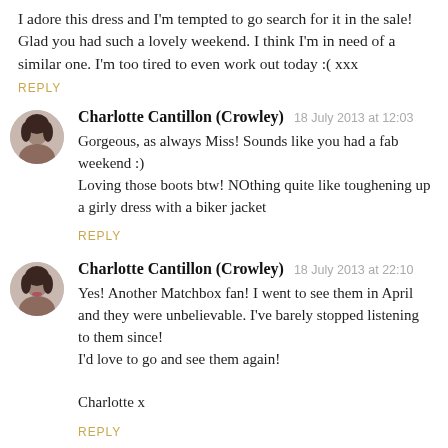I adore this dress and I'm tempted to go search for it in the sale! Glad you had such a lovely weekend. I think I'm in need of a similar one. I'm too tired to even work out today :( xxx
REPLY
Charlotte Cantillon (Crowley)  18 July 2013 at 12:03
Gorgeous, as always Miss! Sounds like you had a fab weekend :)
Loving those boots btw! NOthing quite like toughening up a girly dress with a biker jacket
REPLY
Charlotte Cantillon (Crowley)  18 July 2013 at 22:10
Yes! Another Matchbox fan! I went to see them in April and they were unbelievable. I've barely stopped listening to them since!
I'd love to go and see them again!

Charlotte x
REPLY